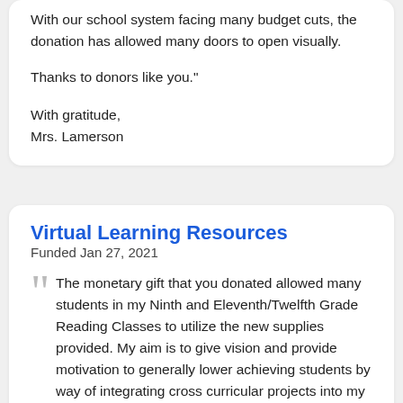With our school system facing many budget cuts, the donation has allowed many doors to open visually.

Thanks to donors like you."

With gratitude,
Mrs. Lamerson
Virtual Learning Resources
Funded Jan 27, 2021
The monetary gift that you donated allowed many students in my Ninth and Eleventh/Twelfth Grade Reading Classes to utilize the new supplies provided. My aim is to give vision and provide motivation to generally lower achieving students by way of integrating cross curricular projects into my instruction in the classroom. You have